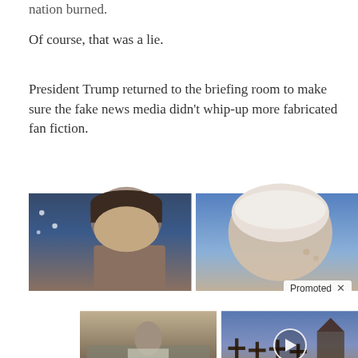nation burned.
Of course, that was a lie.
President Trump returned to the briefing room to make sure the fake news media didn't whip-up more fabricated fan fiction.
[Figure (photo): Cropped close-up photo of a man's face in front of an American flag]
[Figure (photo): Cropped close-up photo of an older man's head from behind/side, with a 'Promoted X' badge overlay]
[Figure (photo): Ad image: person sitting on bed]
4 Warning Signs Of Dementia (#2 Is Scary)
🔥 48,843
[Figure (photo): Ad image: cemetery with crosses, video play button overlay]
Everyone Who Believes In God Should Watch This. It Will Blow Your Mind
🔥 2,853,189